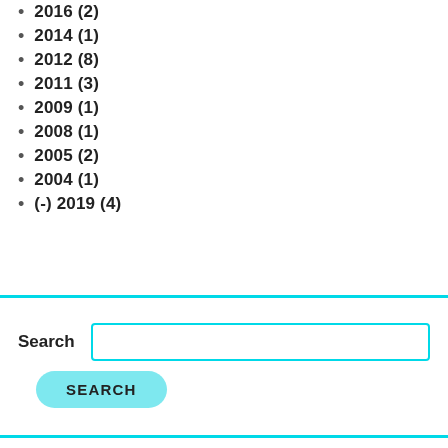2016 (2)
2014 (1)
2012 (8)
2011 (3)
2009 (1)
2008 (1)
2005 (2)
2004 (1)
(-) 2019 (4)
Search
SEARCH